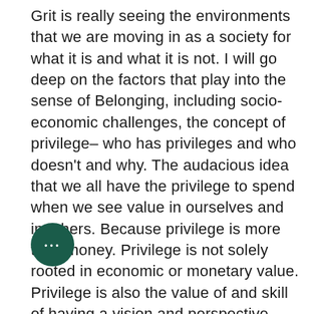Grit is really seeing the environments that we are moving in as a society for what it is and what it is not. I will go deep on the factors that play into the sense of Belonging, including socio-economic challenges, the concept of privilege– who has privileges and who doesn't and why. The audacious idea that we all have the privilege to spend when we see value in ourselves and in others. Because privilege is more than money. Privilege is not solely rooted in economic or monetary value. Privilege is also the value of and skill of having a vision and perspective …ne optimism (or as my aunties …say the unmitigated gall) that it takes to apply what we learn as a
[Figure (other): Dark green circular button with three white ellipsis dots]